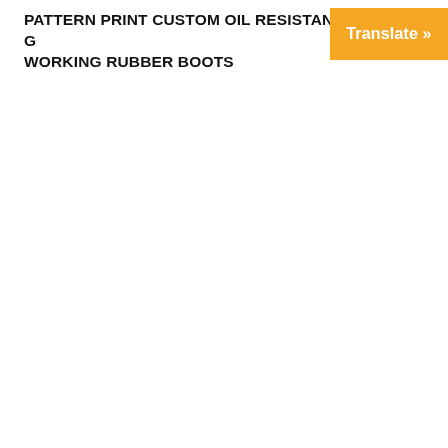PATTERN PRINT CUSTOM OIL RESISTANT G... WORKING RUBBER BOOTS
[Figure (other): Orange 'Translate »' button in top right corner]